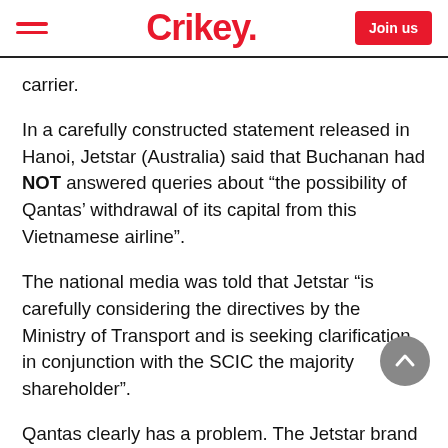Crikey.
carrier.
In a carefully constructed statement released in Hanoi, Jetstar (Australia) said that Buchanan had NOT answered queries about “the possibility of Qantas’ withdrawal of its capital from this Vietnamese airline”.
The national media was told that Jetstar “is carefully considering the directives by the Ministry of Transport and is seeking clarification in conjunction with the SCIC the majority shareholder”.
Qantas clearly has a problem. The Jetstar brand is its intended vehicle for participating in the boom in low-